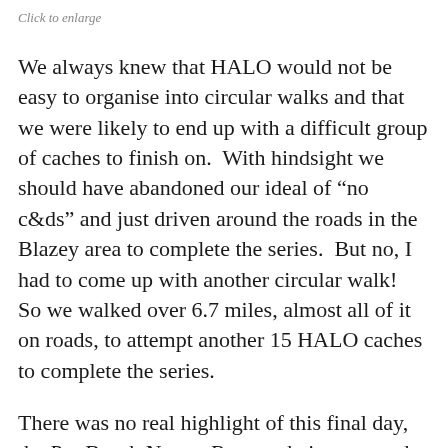Click to enlarge
We always knew that HALO would not be easy to organise into circular walks and that we were likely to end up with a difficult group of caches to finish on.  With hindsight we should have abandoned our ideal of “no c&ds” and just driven around the roads in the Blazey area to complete the series.  But no, I had to come up with another circular walk!  So we walked over 6.7 miles, almost all of it on roads, to attempt another 15 HALO caches to complete the series.
There was no real highlight of this final day, the Par Beach Nature Reserve being as good as it got!  One reasonable cache, Marshy Marshy,